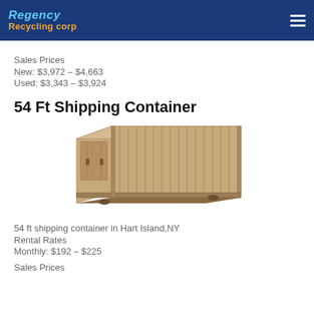Regency Recycling Corp
Sales Prices
New: $3,972 – $4,663
Used: $3,343 – $3,924
54 Ft Shipping Container
[Figure (photo): A tan/beige 54 ft shipping container shown in 3D perspective view against a white background.]
54 ft shipping container in Hart Island,NY
Rental Rates
Monthly: $192 – $225
Sales Prices